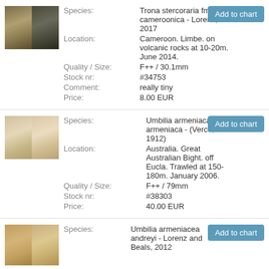[Figure (photo): Two views of Trona stercoraria fma cameroonica shell on black background]
Species: Trona stercoraria fma cameroonica - Lorenz, 2017
Location: Cameroon. Limbe. on volcanic rocks at 10-20m. June 2014.
Quality / Size: F++ / 30.1mm
Stock nr: #34753
Comment: really tiny
Price: 8.00 EUR
[Figure (photo): Two views of Umbilia armeniaca armeniaca shell on black background]
Species: Umbilia armeniaca armeniaca - (Verco, 1912)
Location: Australia. Great Australian Bight. off Eucla. Trawled at 150-180m. January 2006.
Quality / Size: F++ / 79mm
Stock nr: #38303
Price: 40.00 EUR
[Figure (photo): Two views of Umbilia armeniacea andreyi shell on black background]
Species: Umbilia armeniacea andreyi - Lorenz and Beals, 2012